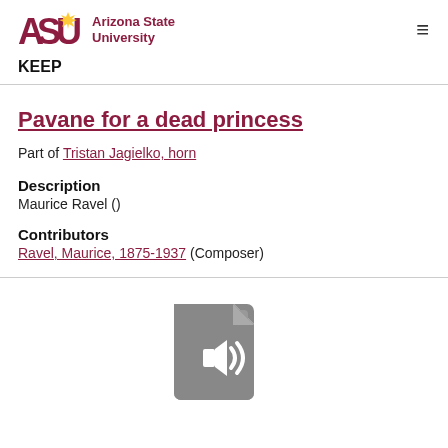[Figure (logo): Arizona State University logo with block ASU letters in maroon and gold spark, followed by 'Arizona State University' text in maroon]
KEEP
Pavane for a dead princess
Part of Tristan Jagielko, horn
Description
Maurice Ravel ()
Contributors
Ravel, Maurice, 1875-1937 (Composer)
[Figure (illustration): Gray audio/sound file icon showing a document with a speaker/audio symbol]